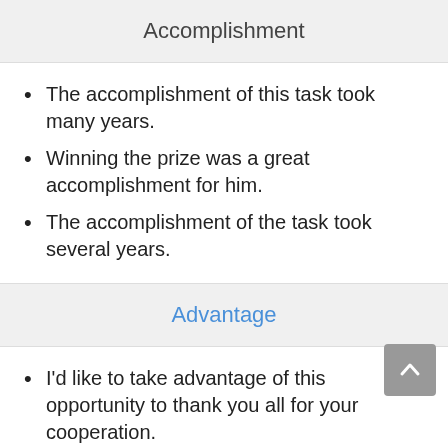Accomplishment
The accomplishment of this task took many years.
Winning the prize was a great accomplishment for him.
The accomplishment of the task took several years.
Advantage
I'd like to take advantage of this opportunity to thank you all for your cooperation.
You should take advantage of the opportunity offered to you.